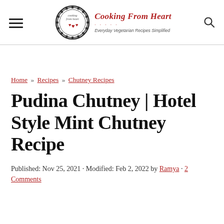Cooking From Heart — Everyday Vegetarian Recipes Simplified
Home » Recipes » Chutney Recipes
Pudina Chutney | Hotel Style Mint Chutney Recipe
Published: Nov 25, 2021 · Modified: Feb 2, 2022 by Ramya · 2 Comments